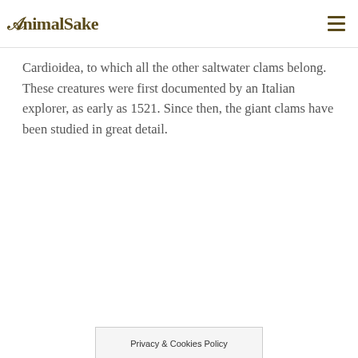AnimalSake
Cardioidea, to which all the other saltwater clams belong. These creatures were first documented by an Italian explorer, as early as 1521. Since then, the giant clams have been studied in great detail.
Privacy & Cookies Policy